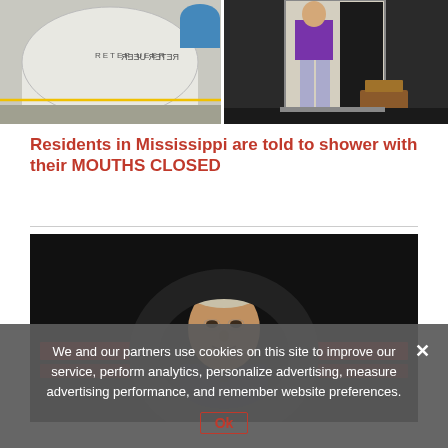[Figure (photo): Two side-by-side photos: left shows a large white cylindrical water tank with text 'BEER WATER' (reflected/mirrored), right shows a person standing in a doorway with a wooden step stool on the ground outside.]
Residents in Mississippi are told to shower with their MOUTHS CLOSED
[Figure (photo): Dark photo of an older man (appears to be a politician) speaking at a podium or event, with red horizontal light bars visible in the background on either side.]
We and our partners use cookies on this site to improve our service, perform analytics, personalize advertising, measure advertising performance, and remember website preferences.
Ok